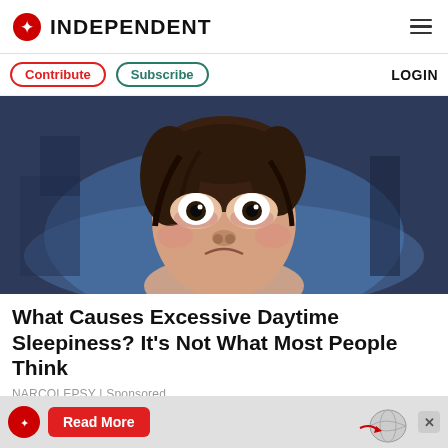INDEPENDENT
Contribute | Subscribe | LOGIN
[Figure (illustration): Cartoon illustration of a wide-eyed woman lying in bed looking exhausted and sleepless, with dark bedroom background]
What Causes Excessive Daytime Sleepiness? It’s Not What Most People Think
NARCOLEPSY | Sponsored
[Figure (photo): Partial photo of a person's head visible at bottom, advertisement strip with Independent logo, Read More button, and globe graphic]